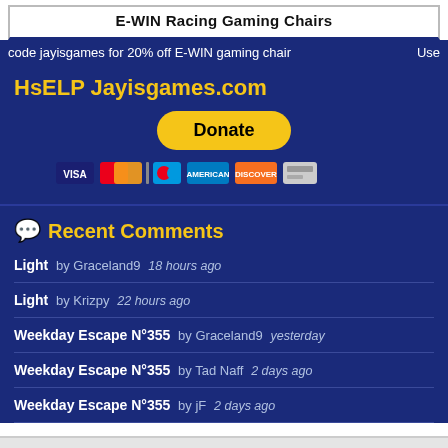E-WIN Racing Gaming Chairs
Use code jayisgames for 20% off E-WIN gaming chair
HsELP Jayisgames.com
[Figure (other): Donate button with PayPal and payment card icons (Visa, Mastercard, American Express, Discover)]
Recent Comments
Light by Graceland9 18 hours ago
Light by Krizpy 22 hours ago
Weekday Escape N°355 by Graceland9 yesterday
Weekday Escape N°355 by Tad Naff 2 days ago
Weekday Escape N°355 by jF 2 days ago